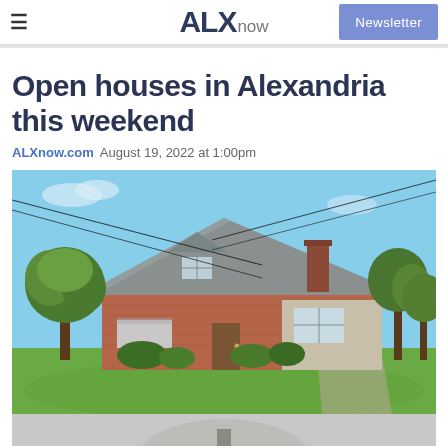ALXnow | Newsletter
Open houses in Alexandria this weekend
ALXnow.com  August 19, 2022 at 1:00pm
[Figure (photo): Exterior photo of a single-family brick ranch house with gray roof, chimney, and lush green lawn under blue sky, with trees and power lines visible.]